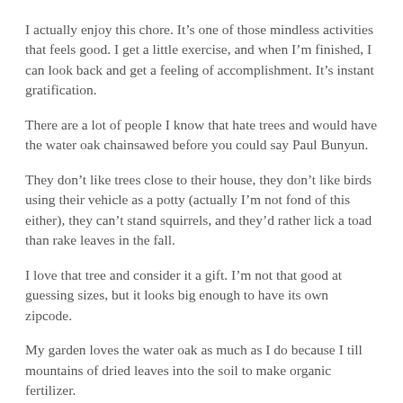I actually enjoy this chore. It’s one of those mindless activities that feels good. I get a little exercise, and when I’m finished, I can look back and get a feeling of accomplishment. It’s instant gratification.
There are a lot of people I know that hate trees and would have the water oak chainsawed before you could say Paul Bunyun.
They don’t like trees close to their house, they don’t like birds using their vehicle as a potty (actually I’m not fond of this either), they can’t stand squirrels, and they’d rather lick a toad than rake leaves in the fall.
I love that tree and consider it a gift. I’m not that good at guessing sizes, but it looks big enough to have its own zipcode.
My garden loves the water oak as much as I do because I till mountains of dried leaves into the soil to make organic fertilizer.
I also use them to mulch our fruit trees, and I always save some to burn on cool Saturday afternoons.